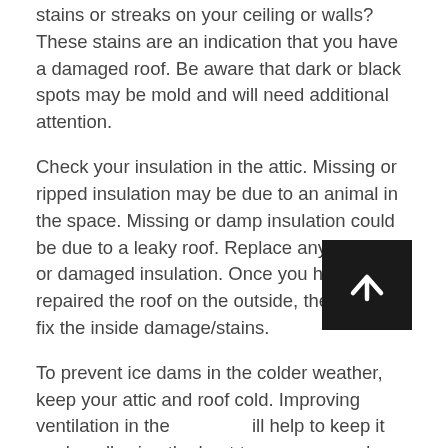stains or streaks on your ceiling or walls? These stains are an indication that you have a damaged roof. Be aware that dark or black spots may be mold and will need additional attention.
Check your insulation in the attic. Missing or ripped insulation may be due to an animal in the space. Missing or damp insulation could be due to a leaky roof. Replace any missing or damaged insulation. Once you have repaired the roof on the outside, then you can fix the inside damage/stains.
To prevent ice dams in the colder weather, keep your attic and roof cold. Improving ventilation in the [attic] will help to keep it cooler, allowing the heat to escape. Ice dams are formed from melted snow.
The warm air underneath (in the attic), melts the snow, the water runs down the roof to refreeze on the cooler